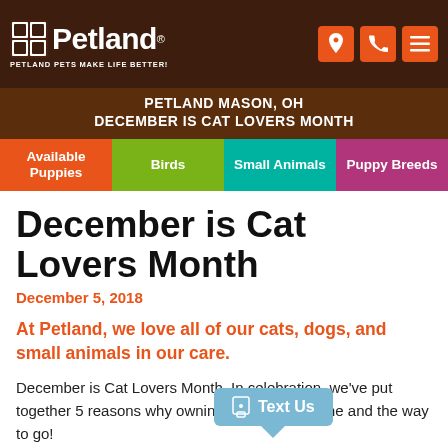Petland — PETLAND PETS MAKE LIFE BETTER!
PETLAND MASON, OH
DECEMBER IS CAT LOVERS MONTH
December is Cat Lovers Month
December 5, 2018
At Petland, we love all of our cats, dogs, and small animals in our care.
December is Cat Lovers Month. In celebration, we've put together 5 reasons why owning a cat is awesome and the way to go!